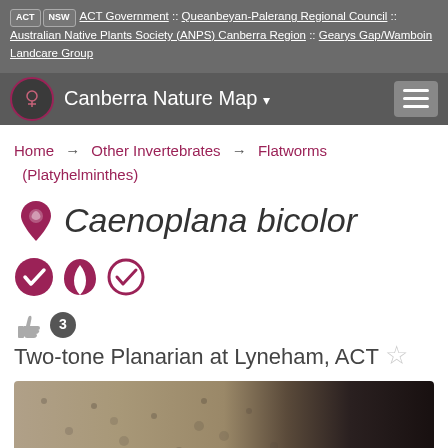ACT NSW ACT Government :: Queanbeyan-Palerang Regional Council :: Australian Native Plants Society (ANPS) Canberra Region :: Gearys Gap/Wamboin Landcare Group
Canberra Nature Map
Home → Other Invertebrates → Flatworms (Platyhelminthes)
Caenoplana bicolor
Two-tone Planarian at Lyneham, ACT
[Figure (photo): Close-up photo of rock surface with speckled texture on the left and dark black surface on the right]